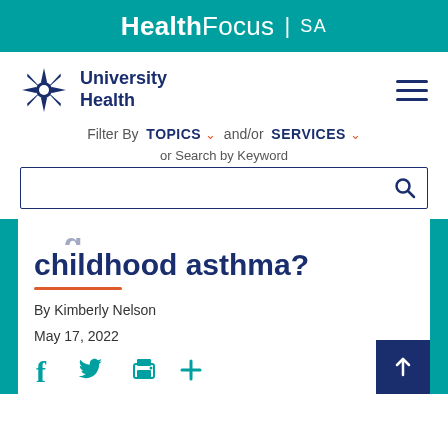HealthFocus | SA
[Figure (logo): University Health logo with snowflake emblem and University Health text in navy blue]
Filter By TOPICS and/or SERVICES
or Search by Keyword
childhood asthma?
By Kimberly Nelson
May 17, 2022